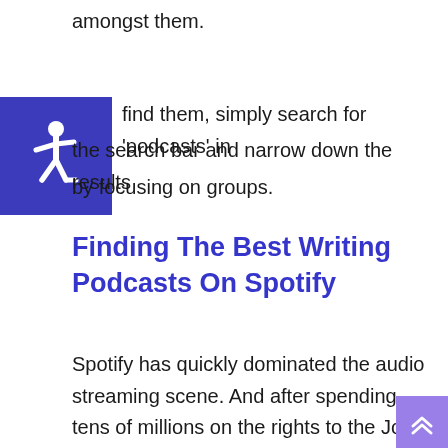amongst them.
[Figure (logo): Accessibility icon — white wheelchair symbol on dark blue/indigo square background]
find them, simply search for 'podcasts' in the search bar and narrow down the results by focusing on groups.
Finding The Best Writing Podcasts On Spotify
Spotify has quickly dominated the audio streaming scene. And after spending tens of millions on the rights to the Joe Rogan podcast, they mean business.
Just like with other platforms, you can search
[Figure (other): Purple scroll-to-top button with double chevron up arrows, positioned at bottom-right corner]